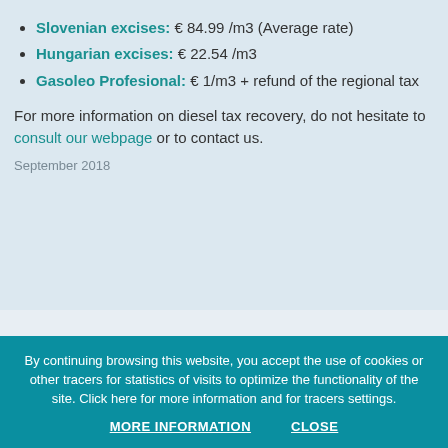Slovenian excises: € 84.99 /m3 (Average rate)
Hungarian excises: € 22.54 /m3
Gasoleo Profesional: € 1/m3 + refund of the regional tax
For more information on diesel tax recovery, do not hesitate to consult our webpage or to contact us.
September 2018
[Figure (screenshot): Partial view of a card or icon graphic with yellow rounded rectangle shape on a light blue background]
By continuing browsing this website, you accept the use of cookies or other tracers for statistics of visits to optimize the functionality of the site. Click here for more information and for tracers settings.
MORE INFORMATION   CLOSE